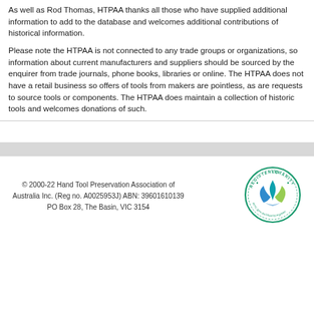As well as Rod Thomas, HTPAA thanks all those who have supplied additional information to add to the database and welcomes additional contributions of historical information.
Please note the HTPAA is not connected to any trade groups or organizations, so information about current manufacturers and suppliers should be sourced by the enquirer from trade journals, phone books, libraries or online. The HTPAA does not have a retail business so offers of tools from makers are pointless, as are requests to source tools or components. The HTPAA does maintain a collection of historic tools and welcomes donations of such.
© 2000-22 Hand Tool Preservation Association of Australia Inc. (Reg no. A0025953J) ABN: 39601610139 PO Box 28, The Basin, VIC 3154
[Figure (logo): Registered Charity circular badge logo with stylized flame/hands graphic in blue and green, text reading REGISTERED CHARITY around the top and acnc.gov.au/charityregister around the bottom]